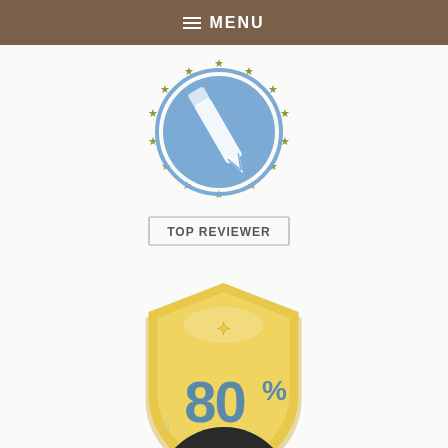MENU
[Figure (logo): Top Reviewer badge: blue circle with pen/pencil icon, surrounded by olive/gold stars arranged in a circle, with 'TOP REVIEWER' text in a rectangular label below]
[Figure (logo): Shield badge in gold/yellow color with '80%' text in blue-grey, with a small star/sparkle at top]
[Figure (logo): Partially visible circular dark badge at bottom of page, appears to have text around the circumference]